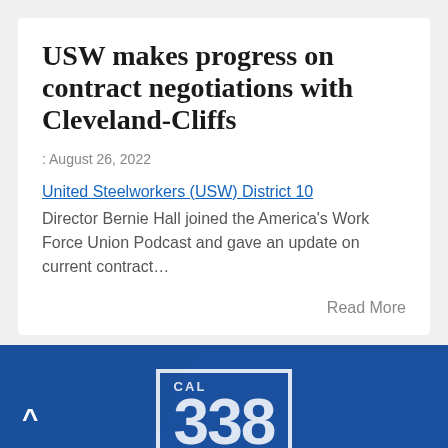USW makes progress on contract negotiations with Cleveland-Cliffs
: August 26, 2022
United Steelworkers (USW) District 10 Director Bernie Hall joined the America's Work Force Union Podcast and gave an update on current contract…
Read More
[Figure (logo): Blue banner with white CAL 338 local union badge/logo on dark blue background with geometric pattern]